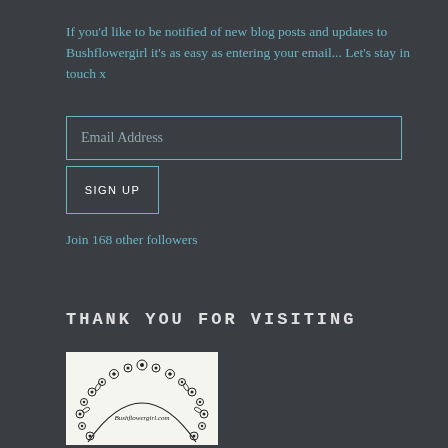If you'd like to be notified of new blog posts and updates to Bushflowergirl it's as easy as entering your email... Let's stay in touch x
Email Address
SIGN UP
Join 168 other followers
THANK YOU FOR VISITING
[Figure (logo): Circular floral wreath illustration with text 'Bushflowergirl.com' in the center, drawn in black and white line art style]